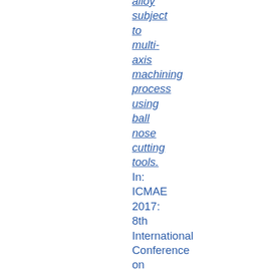alloy subject to multi-axis machining process using ball nose cutting tools. In: ICMAE 2017: 8th International Conference on Mechanical and